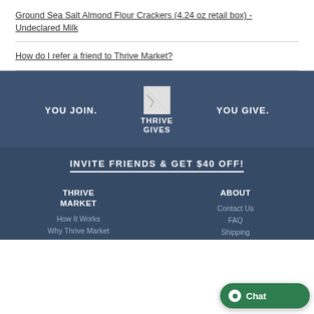Ground Sea Salt Almond Flour Crackers (4.24 oz retail box) - Undeclared Milk
How do I refer a friend to Thrive Market?
[Figure (infographic): Thrive Gives banner: YOU JOIN. [Thrive Gives logo] YOU GIVE.]
INVITE FRIENDS & GET $40 OFF!
THRIVE MARKET
How It Works
Why Thrive Market
ABOUT
Contact Us
FAQ
Shipping